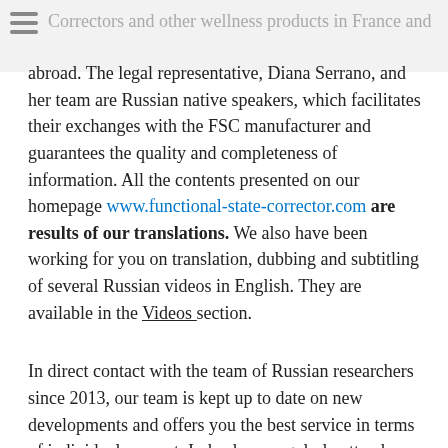Correctors and other wellness products in France and abroad.
abroad. The legal representative, Diana Serrano, and her team are Russian native speakers, which facilitates their exchanges with the FSC manufacturer and guarantees the quality and completeness of information. All the contents presented on our homepage www.functional-state-corrector.com are results of our translations. We also have been working for you on translation, dubbing and subtitling of several Russian videos in English. They are available in the Videos section.
In direct contact with the team of Russian researchers since 2013, our team is kept up to date on new developments and offers you the best service in terms of individual support. Indeed, we regularly attend videoconferences hosted by the team of Russian scientists to better meet your needs. We speak English, French and Russian.
We pay special attention to the documentation in English. A